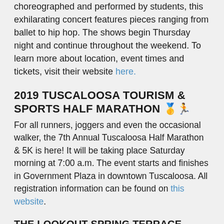choreographed and performed by students, this exhilarating concert features pieces ranging from ballet to hip hop. The shows begin Thursday night and continue throughout the weekend. To learn more about location, event times and tickets, visit their website here.
2019 TUSCALOOSA TOURISM & SPORTS HALF MARATHON 🥇🏃
For all runners, joggers and even the occasional walker, the 7th Annual Tuscaloosa Half Marathon & 5K is here! It will be taking place Saturday morning at 7:00 a.m. The event starts and finishes in Government Plaza in downtown Tuscaloosa. All registration information can be found on this website.
THE LOOKOUT SPRING TERRACE OPENING PARTY 🌷☀️
Everyone is ready for warmer weather, so The Lookout is